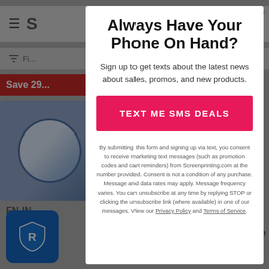[Figure (screenshot): Background of a website showing a header with hamburger menu, cart icon with badge '0', filter bar, red sale banner 'Save 2...', product image (blue container), and partial product labels 'FN-IN...' below]
Always Have Your Phone On Hand?
Sign up to get texts about the latest news about sales, promos, and new products.
TEXT ME SMS DEALS
By submitting this form and signing up via text, you consent to receive marketing text messages (such as promotion codes and cart reminders) from Screenprinting.com at the number provided. Consent is not a condition of any purchase. Message and data rates may apply. Message frequency varies. You can unsubscribe at any time by replying STOP or clicking the unsubscribe link (where available) in one of our messages. View our Privacy Policy and Terms of Service.